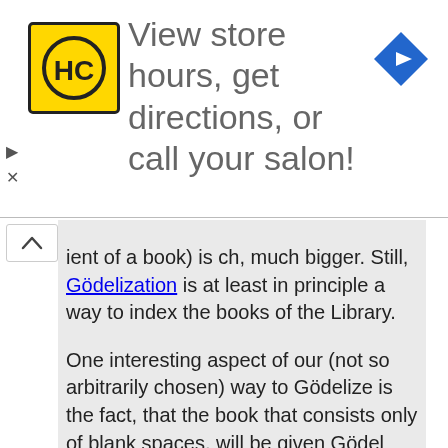[Figure (logo): Advertisement banner with HC salon logo (yellow square with HC letters in black circle), text 'View store hours, get directions, or call your salon!', and a blue navigation diamond icon on the right]
ient of a book) is ch, much bigger. Still, Gödelization is at least in principle a way to index the books of the Library.

One interesting aspect of our (not so arbitrarily chosen) way to Gödelize is the fact, that the book that consists only of blank spaces, will be given Gödel number 1, since every single of the 1,312,000 prime numbers representing the 1,312,000 positions are taken to the power of 0. Well, from here on it is clear that we can construct an ascending order by